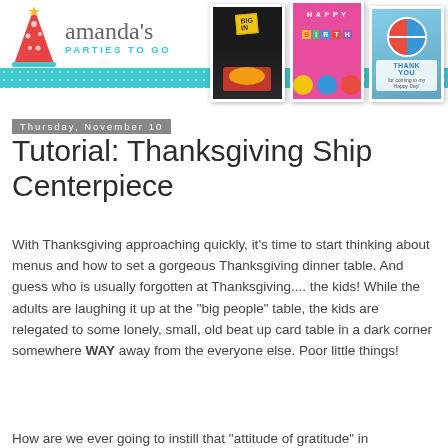[Figure (illustration): Amanda's Parties To Go blog header with logo (party hat and brand name), teal dotted strip, and three photo collage cards showing party decorations]
Thursday, November 10
Tutorial: Thanksgiving Ship Centerpiece
With Thanksgiving approaching quickly, it's time to start thinking about menus and how to set a gorgeous Thanksgiving dinner table. And guess who is usually forgotten at Thanksgiving.... the kids! While the adults are laughing it up at the "big people" table, the kids are relegated to some lonely, small, old beat up card table in a dark corner somewhere WAY away from the everyone else. Poor little things!
How are we ever going to instill that "attitude of gratitude" in